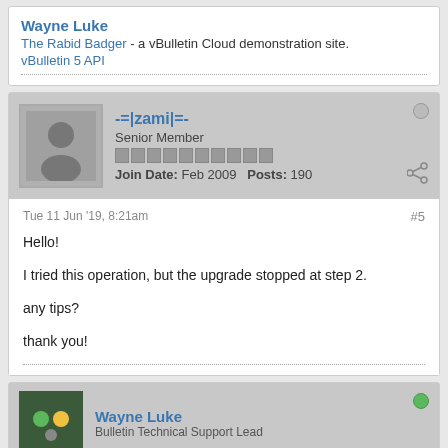Wayne Luke
The Rabid Badger - a vBulletin Cloud demonstration site.
vBulletin 5 API
-=|zami|=-
Senior Member
Join Date: Feb 2009  Posts: 190
Tue 11 Jun '19, 8:21am  #5
Hello!

I tried this operation, but the upgrade stopped at step 2.

any tips?

thank you!
Wayne Luke
Bulletin Technical Support Lead